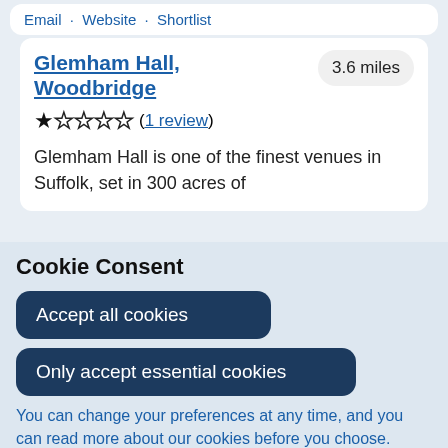Email · Website · Shortlist
Glemham Hall, Woodbridge
3.6 miles
★ ☆ ☆ ☆ ☆ (1 review)
Glemham Hall is one of the finest venues in Suffolk, set in 300 acres of
Cookie Consent
Accept all cookies
Only accept essential cookies
You can change your preferences at any time, and you can read more about our cookies before you choose.
Leave Website